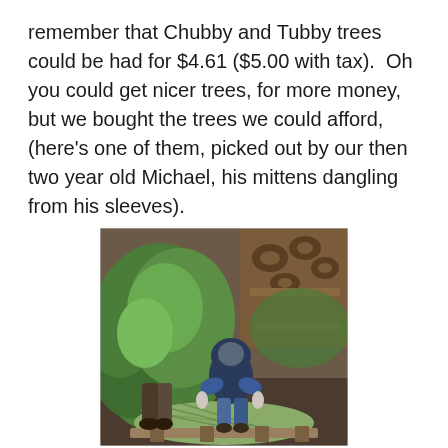remember that Chubby and Tubby trees could be had for $4.61 ($5.00 with tax).  Oh you could get nicer trees, for more money, but we bought the trees we could afford, (here's one of them, picked out by our then two year old Michael, his mittens dangling from his sleeves).
[Figure (photo): A young toddler wearing a dark blue hoodie and jeans, viewed from behind, standing among cut Christmas trees laid on the ground at a tree lot. The child's mittens are dangling from the sleeves.]